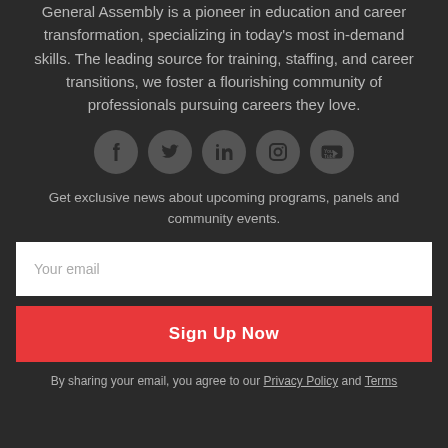General Assembly is a pioneer in education and career transformation, specializing in today's most in-demand skills. The leading source for training, staffing, and career transitions, we foster a flourishing community of professionals pursuing careers they love.
[Figure (illustration): Five social media icon circles: Facebook, Twitter, LinkedIn, Instagram, YouTube]
Get exclusive news about upcoming programs, panels and community events.
Your email
Sign Up Now
By sharing your email, you agree to our Privacy Policy and Terms